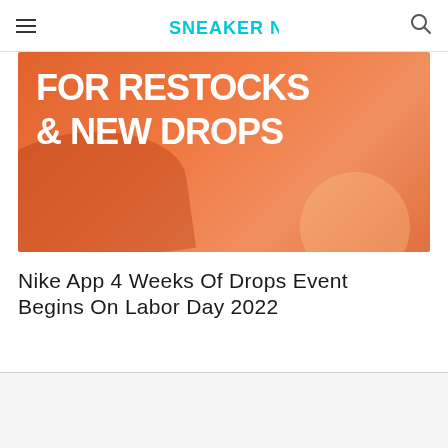SNEAKER NEWS
[Figure (photo): Orange/coral colored promotional banner with large white bold text reading 'FOR RESTOCKS & NEW DROPS' with decorative circular and shadow shapes]
Nike App 4 Weeks Of Drops Event Begins On Labor Day 2022